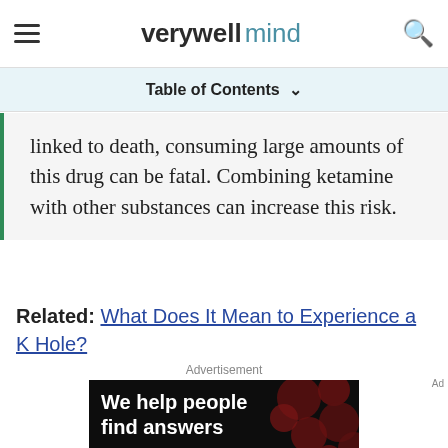verywellmind
Table of Contents
linked to death, consuming large amounts of this drug can be fatal. Combining ketamine with other substances can increase this risk.
Related: What Does It Mean to Experience a K Hole?
[Figure (photo): Advertisement banner showing 'We help people find answers' text on dark background with red circles pattern, and Dotdash Meredith branding]